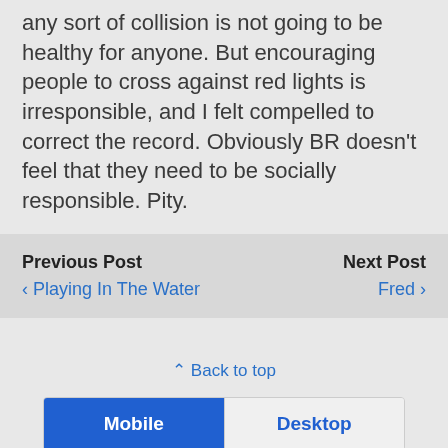any sort of collision is not going to be healthy for anyone. But encouraging people to cross against red lights is irresponsible, and I felt compelled to correct the record. Obviously BR doesn't feel that they need to be socially responsible. Pity.
Previous Post
‹ Playing In The Water
Next Post
Fred ›
⇑ Back to top
Mobile | Desktop